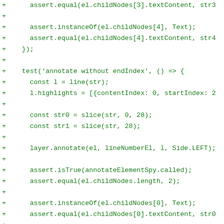Code diff snippet showing JavaScript test code with assertions and annotate function calls
+     assert.equal(el.childNodes[3].textContent, str3
+
+     assert.instanceOf(el.childNodes[4], Text);
+     assert.equal(el.childNodes[4].textContent, str4
+   });
+
+   test('annotate without endIndex', () => {
+     const l = line(str);
+     l.highlights = [{contentIndex: 0, startIndex: 2
+
+     const str0 = slice(str, 0, 28);
+     const str1 = slice(str, 28);
+
+     layer.annotate(el, lineNumberEl, l, Side.LEFT);
+
+     assert.isTrue(annotateElementSpy.called);
+     assert.equal(el.childNodes.length, 2);
+
+     assert.instanceOf(el.childNodes[0], Text);
+     assert.equal(el.childNodes[0].textContent, str0
+
+     assert.notInstanceOf(el.childNodes[1], Text);